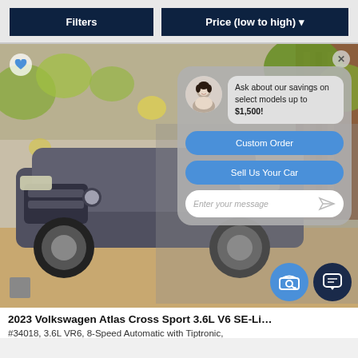Filters | Price (low to high)
[Figure (screenshot): Screenshot of a car dealership website showing a 2023 Volkswagen Atlas Cross Sport with a chat widget overlay. The chat widget shows an avatar, a savings message, Custom Order button, Sell Us Your Car button, and a message input field. Two FAB buttons are visible at bottom right.]
2023 Volkswagen Atlas Cross Sport 3.6L V6 SE-Li
#34018, 3.6L VR6, 8-Speed Automatic with Tiptronic,